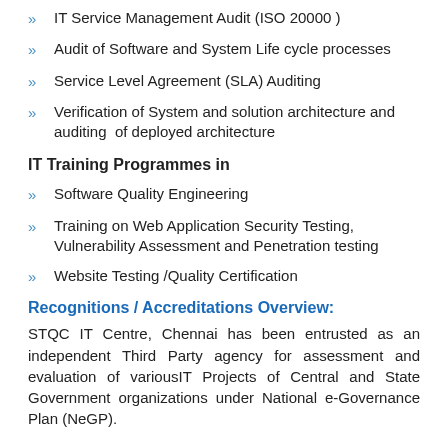IT Service Management Audit (ISO 20000 )
Audit of Software and System Life cycle processes
Service Level Agreement (SLA) Auditing
Verification of System and solution architecture and auditing  of deployed architecture
IT Training Programmes in
Software Quality Engineering
Training on Web Application Security Testing, Vulnerability Assessment and Penetration testing
Website Testing /Quality Certification
Recognitions / Accreditations Overview:
STQC IT Centre, Chennai has been entrusted as an independent Third Party agency for assessment and evaluation of variousIT Projects of Central and State Government organizations under National e-Governance Plan (NeGP).